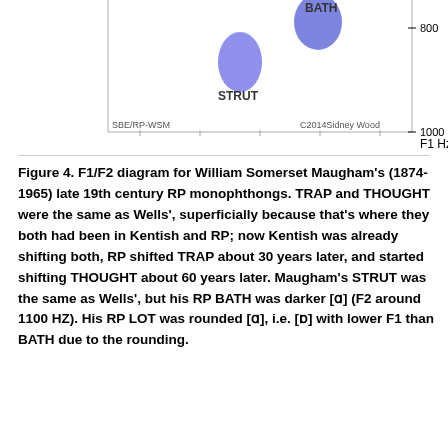[Figure (continuous-plot): Partial F1/F2 vowel diagram showing STRUT and BATH vowel positions plotted as blue ellipses. STRUT is positioned at approximately F1=800Hz, and BATH is to the upper right. Labels SBE/RP-WSM and C2014Sidney Wood appear at bottom corners. F1 Hz axis label visible on right side with tick marks at 800 and 1000.]
Figure 4. F1/F2 diagram for William Somerset Maugham's (1874-1965) late 19th century RP monophthongs. TRAP and THOUGHT were the same as Wells', superficially because that's where they both had been in Kentish and RP; now Kentish was already shifting both, RP shifted TRAP about 30 years later, and started shifting THOUGHT about 60 years later. Maugham's STRUT was the same as Wells', but his RP BATH was darker [ɑ] (F2 around 1100 HZ). His RP LOT was rounded [ɑ], i.e. [ɒ] with lower F1 than BATH due to the rounding.